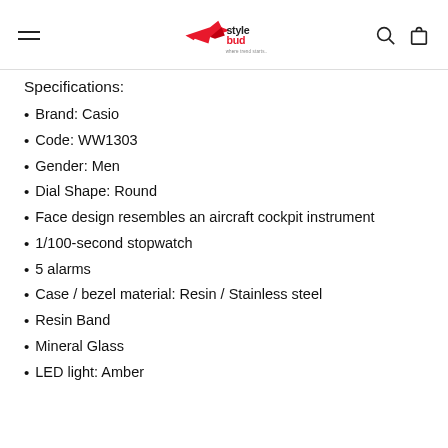StyleBud — where trend starts..
Specifications:
Brand: Casio
Code: WW1303
Gender: Men
Dial Shape: Round
Face design resembles an aircraft cockpit instrument
1/100-second stopwatch
5 alarms
Case / bezel material: Resin / Stainless steel
Resin Band
Mineral Glass
LED light: Amber